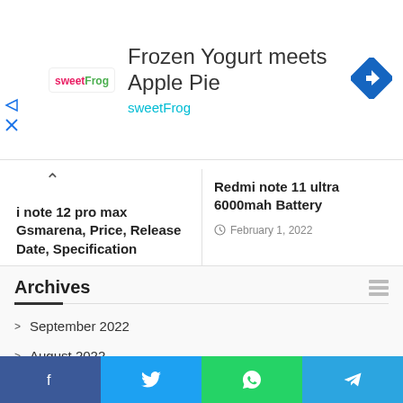[Figure (screenshot): Advertisement banner for sweetFrog: 'Frozen Yogurt meets Apple Pie' with sweetFrog logo and a blue diamond navigation icon]
i note 12 pro max Gsmarena, Price, Release Date, Specification
March 8, 2022
Redmi note 11 ultra 6000mah Battery
February 1, 2022
Archives
September 2022
August 2022